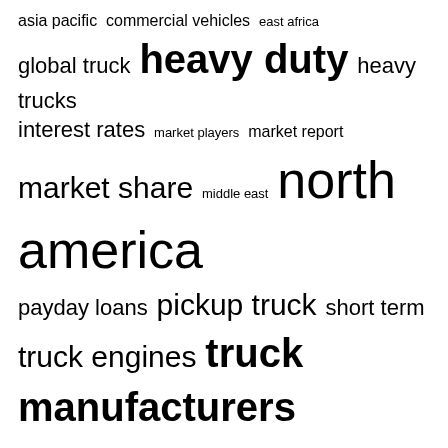[Figure (infographic): Tag cloud with terms of varying sizes: asia pacific, commercial vehicles, east africa, global truck, heavy duty, heavy trucks, interest rates, market players, market report, market share, middle east, north america, payday loans, pickup truck, short term, truck engines, truck manufacturers, united states, volvo trucks]
RECENT POSTS
“Right:” Internship Living Art Auction helps UPT complete major renovations – The Ukiah Daily Journal
Adidas' Liquid Billboard Ad Campaign Wins Cannes Lions Outdoor Grand Prix